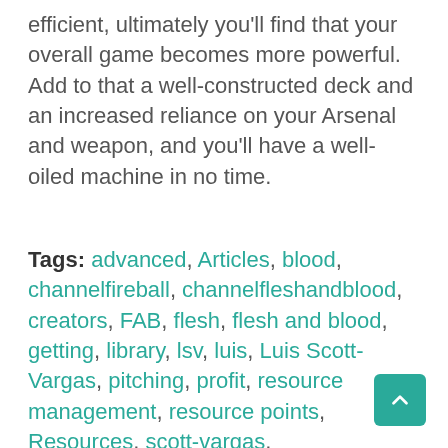efficient, ultimately you'll find that your overall game becomes more powerful. Add to that a well-constructed deck and an increased reliance on your Arsenal and weapon, and you'll have a well-oiled machine in no time.
Tags: advanced, Articles, blood, channelfireball, channelfleshandblood, creators, FAB, flesh, flesh and blood, getting, library, lsv, luis, Luis Scott-Vargas, pitching, profit, resource management, resource points, Resources, scott-vargas,